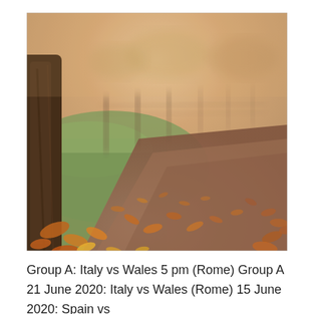[Figure (photo): Autumn park path scene with fallen orange and brown leaves scattered on a dirt path and grass, a large tree trunk visible on the left, blurred wooden fence posts receding into the background, warm sunset haze in the sky.]
Group A: Italy vs Wales 5 pm (Rome) Group A 21 June 2020: Italy vs Wales (Rome) 15 June 2020: Spain vs